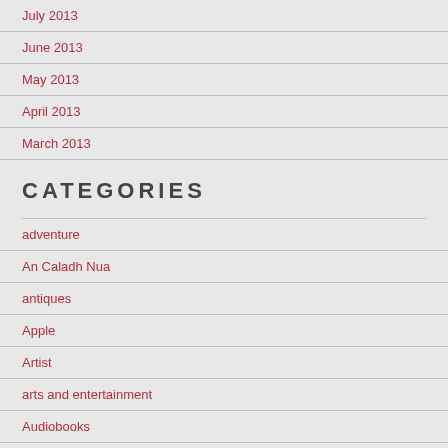July 2013
June 2013
May 2013
April 2013
March 2013
CATEGORIES
adventure
An Caladh Nua
antiques
Apple
Artist
arts and entertainment
Audiobooks
australia
Band
Baroque